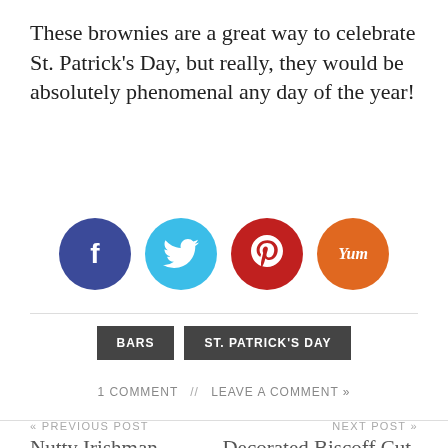These brownies are a great way to celebrate St. Patrick’s Day, but really, they would be absolutely phenomenal any day of the year!
[Figure (other): Four social sharing buttons: Facebook (dark blue circle with f), Twitter (light blue circle with bird icon), Pinterest (dark red circle with p), Yummly (orange circle with Yum text)]
BARS   ST. PATRICK’S DAY
1 comment  //  LEAVE A COMMENT »
« PREVIOUS POST
Nutty Irishman Macarons
NEXT POST »
Decorated Biscoff Cut-Out Cookies for St. Patrick’s Day